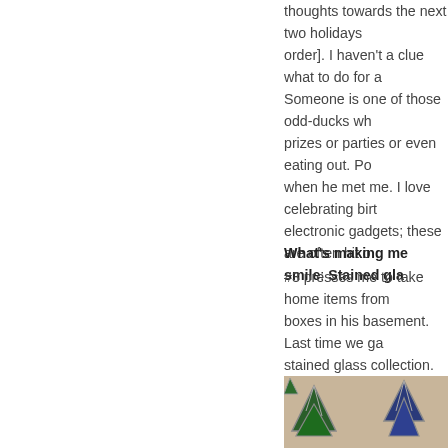thoughts towards the next two holidays [in order]. I haven't a clue what to do for a... Someone is one of those odd-ducks wh... prizes or parties or even eating out. Po... when he met me. I love celebrating birt... electronic gadgets; these are often hit ...
What's making me smile: Stained gla...
#3 presses me to take home items from... boxes in his basement. Last time we ga... stained glass collection. She had heap... rotating them, apropos for the season. ... window into the backyard through a pa... ones. This weekend I will hang them on... and Christmases long time ago.
[Figure (photo): Photo of stained glass ornaments — green and blue star/tree shapes with silver leading, on a beige/tan background surface.]